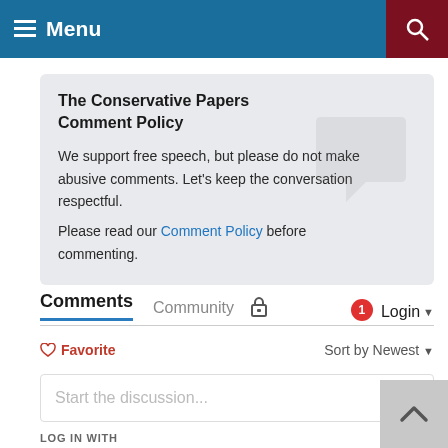Menu
The Conservative Papers Comment Policy
We support free speech, but please do not make abusive comments. Let's keep the conversation respectful.
Please read our Comment Policy before commenting.
Comments  Community  Login
Favorite    Sort by Newest
Start the discussion...
LOG IN WITH